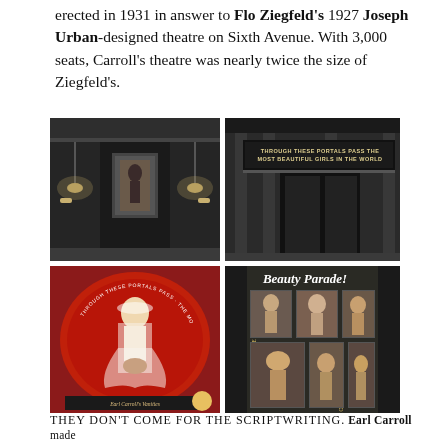erected in 1931 in answer to Flo Ziegfeld's 1927 Joseph Urban-designed theatre on Sixth Avenue. With 3,000 seats, Carroll's theatre was nearly twice the size of Ziegfeld's.
[Figure (photo): Four historical black-and-white and color photographs: top-left shows the interior lobby of Earl Carroll's theatre with chandeliers and a framed portrait; top-right shows the theatre entrance with a sign reading 'THROUGH THESE PORTALS PASS THE MOST BEAUTIFUL GIRLS IN THE WORLD'; bottom-left shows a red circular program cover for Earl Carroll's Vanities with a woman in a bridal pose; bottom-right shows a Beauty Parade magazine/program cover with multiple showgirl photos.]
THEY DON'T COME FOR THE SCRIPTWRITING. Earl Carroll made